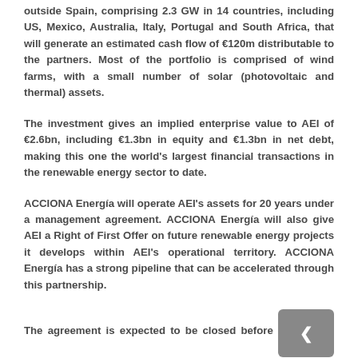outside Spain, comprising 2.3 GW in 14 countries, including US, Mexico, Australia, Italy, Portugal and South Africa, that will generate an estimated cash flow of €120m distributable to the partners. Most of the portfolio is comprised of wind farms, with a small number of solar (photovoltaic and thermal) assets.
The investment gives an implied enterprise value to AEI of €2.6bn, including €1.3bn in equity and €1.3bn in net debt, making this one the world's largest financial transactions in the renewable energy sector to date.
ACCIONA Energía will operate AEI's assets for 20 years under a management agreement. ACCIONA Energía will also give AEI a Right of First Offer on future renewable energy projects it develops within AEI's operational territory. ACCIONA Energía has a strong pipeline that can be accelerated through this partnership.
The agreement is expected to be closed before the end of the year.